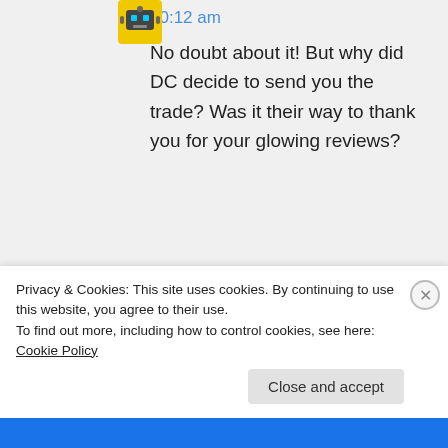10:12 am
No doubt about it! But why did DC decide to send you the trade? Was it their way to thank you for your glowing reviews?
patrickjehlers on August 16, 2013 at 10:14 am
Privacy & Cookies: This site uses cookies. By continuing to use this website, you agree to their use.
To find out more, including how to control cookies, see here: Cookie Policy